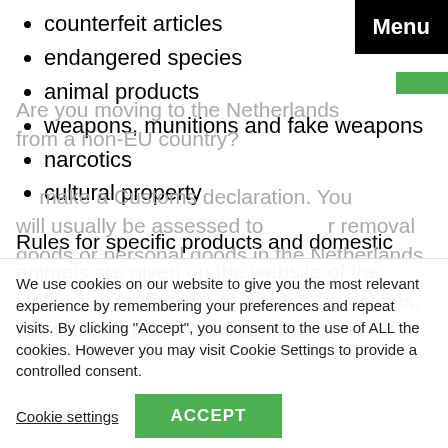counterfeit articles
endangered species
animal products
weapons, munitions and fake weapons
narcotics
cultural property
Rules for specific products and domestic animals are given on the website of the Dutch Tax Authority. For all other questions, call the Customs Information Line.
Are you moving to the Netherlands from a non-EU country? ... make a Customs declaration. You will usually be assessed to ... removal goods or personal goods in the Netherlands
We use cookies on our website to give you the most relevant experience by remembering your preferences and repeat visits. By clicking “Accept”, you consent to the use of ALL the cookies. However you may visit Cookie Settings to provide a controlled consent.